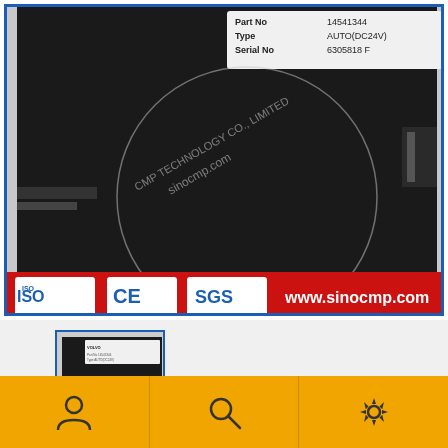[Figure (photo): Product photo of a Volvo electronic control module (black box) with a white label showing Part No 14541344, Type AUTO(DC24V), Serial No 6305818 F. Watermark text 'CMP TECHNOLOGY CO., LIMITED sinocmp.com' overlaid. Red banner at bottom with ISO, CE, SGS certification logos and www.sinocmp.com website. Blue border around image.]
[Figure (photo): Thumbnail image of the same Volvo control module product, smaller view with blue border.]